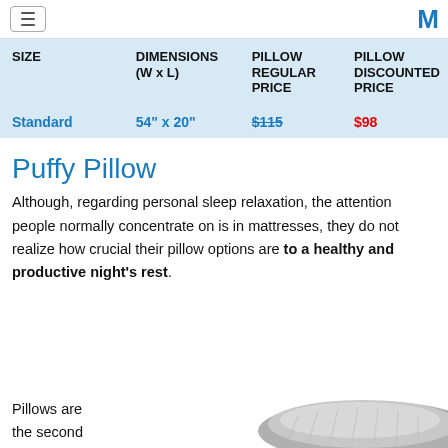≡  M
| SIZE | DIMENSIONS (W x L) | PILLOW REGULAR PRICE | PILLOW DISCOUNTED PRICE |
| --- | --- | --- | --- |
| Standard | 54" x 20" | $115 | $98 |
Puffy Pillow
Although, regarding personal sleep relaxation, the attention people normally concentrate on is in mattresses, they do not realize how crucial their pillow options are to a healthy and productive night's rest.
Pillows are the second